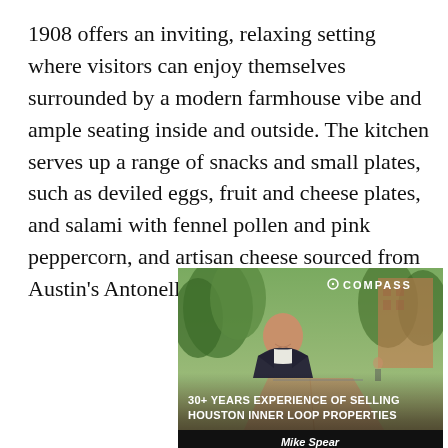1908 offers an inviting, relaxing setting where visitors can enjoy themselves surrounded by a modern farmhouse vibe and ample seating inside and outside. The kitchen serves up a range of snacks and small plates, such as deviled eggs, fruit and cheese plates, and salami with fennel pollen and pink peppercorn, and artisan cheese sourced from Austin's Antonelli's Cheese Shop.
[Figure (photo): Advertisement photo of a bald man in a dark suit smiling outdoors on a walkway with trees and buildings in background. COMPASS logo top right. Text overlay: '30+ YEARS EXPERIENCE OF SELLING HOUSTON INNER LOOP PROPERTIES' and 'Mike Spear' at bottom.]